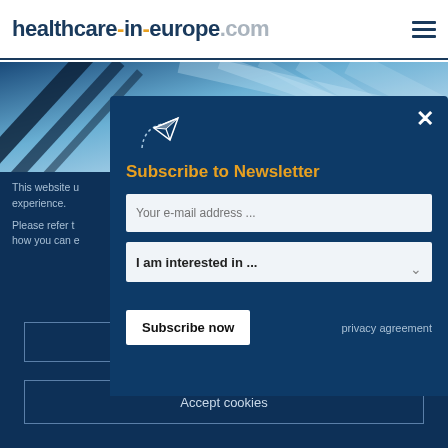healthcare-in-europe.com
[Figure (photo): Abstract blue background image with diagonal light streaks, used as hero banner]
This website ... experience. Please refer t... how you can e...
[Figure (screenshot): Newsletter subscription modal with title 'Subscribe to Newsletter', email input, interest dropdown, Subscribe now button, and privacy agreement link]
Refuse cookies
Accept cookies